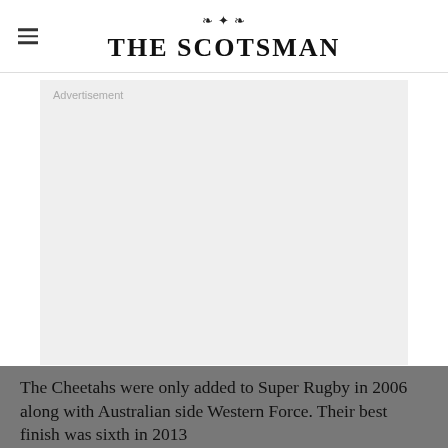THE SCOTSMAN
[Figure (other): Advertisement placeholder block with light grey background and 'Advertisement' label in top-left corner]
The Cheetahs were only added to Super Rugby in 2006 along with Australian side Western Force. Their best finish was sixth in 2013